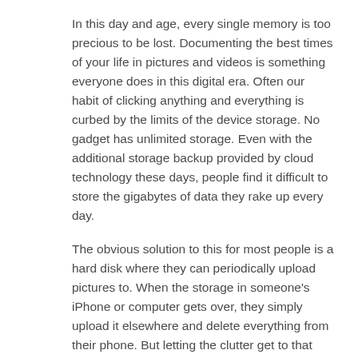In this day and age, every single memory is too precious to be lost. Documenting the best times of your life in pictures and videos is something everyone does in this digital era. Often our habit of clicking anything and everything is curbed by the limits of the device storage. No gadget has unlimited storage. Even with the additional storage backup provided by cloud technology these days, people find it difficult to store the gigabytes of data they rake up every day.
The obvious solution to this for most people is a hard disk where they can periodically upload pictures to. When the storage in someone's iPhone or computer gets over, they simply upload it elsewhere and delete everything from their phone. But letting the clutter get to that point is never a good idea - sometimes we may not get the time to sift through all the pictures and figure out which ones to keep and which ones to delete, but we may need the storage free, and the phone's actual speed reverted as soon as possible.
=> Click here to visit THE PHOTO STICK Official Site & GET 40% OFF <=